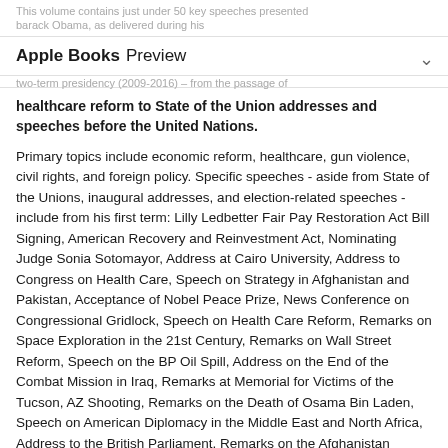This volume contains just under 50 key speeches presented Apple Books Preview barack Obama, as delivered during his two-term presidency (2009-2016) – from the passage of
healthcare reform to State of the Union addresses and speeches before the United Nations.
Primary topics include economic reform, healthcare, gun violence, civil rights, and foreign policy. Specific speeches - aside from State of the Unions, inaugural addresses, and election-related speeches - include from his first term: Lilly Ledbetter Fair Pay Restoration Act Bill Signing, American Recovery and Reinvestment Act, Nominating Judge Sonia Sotomayor, Address at Cairo University, Address to Congress on Health Care, Speech on Strategy in Afghanistan and Pakistan, Acceptance of Nobel Peace Prize, News Conference on Congressional Gridlock, Speech on Health Care Reform, Remarks on Space Exploration in the 21st Century, Remarks on Wall Street Reform, Speech on the BP Oil Spill, Address on the End of the Combat Mission in Iraq, Remarks at Memorial for Victims of the Tucson, AZ Shooting, Remarks on the Death of Osama Bin Laden, Speech on American Diplomacy in the Middle East and North Africa, Address to the British Parliament, Remarks on the Afghanistan Pullout, Address to Congress on the American Jobs Act, Remarks on the End of the War in Iraq, and Remarks on Sandy Hook Elementary Shootings.